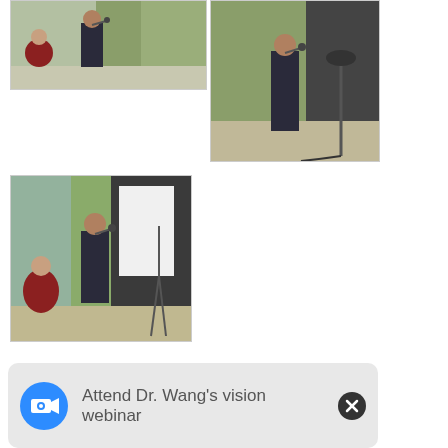[Figure (photo): Outdoor event photo: a man in a dark suit speaking into a microphone at a podium or standing, with a woman in red seated in the background, surrounded by tall grasses and glass building exterior. Top-left crop.]
[Figure (photo): Outdoor event photo: a man in a dark suit speaking into a microphone, tall grasses and dark wall in background, speaker stand visible. Top-right crop, taller view.]
[Figure (photo): Outdoor event photo: a man in a dark suit speaking into a microphone with a large white board/screen behind him, a woman in red seated to the left, lush green trees in background.]
Attend Dr. Wang's vision webinar